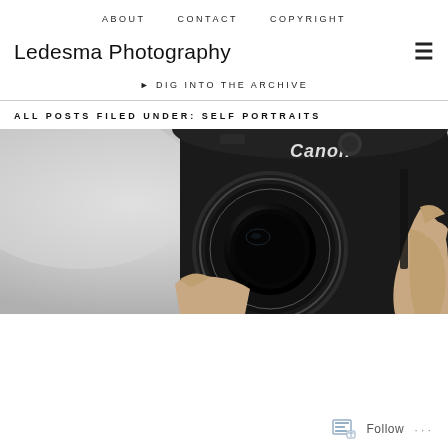ABOUT   CONTACT   COPYRIGHT
Ledesma Photography
▶ DIG INTO THE ARCHIVE
ALL POSTS FILED UNDER: SELF PORTRAITS
[Figure (photo): Black and white close-up photograph of a Canon DSLR camera being held by hands, showing the lens prominently]
Follow  ···